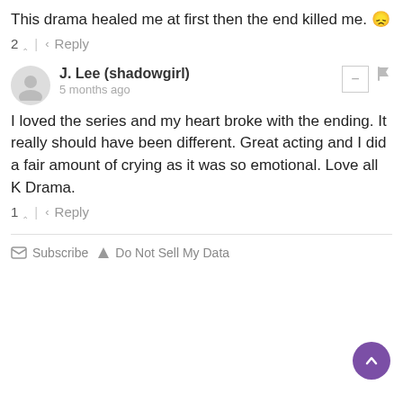This drama healed me at first then the end killed me. 😞
2 ∧ | ∨ Reply
J. Lee (shadowgirl) — 5 months ago
I loved the series and my heart broke with the ending. It really should have been different. Great acting and I did a fair amount of crying as it was so emotional. Love all K Drama.
1 ∧ | ∨ Reply
✉ Subscribe  ▲ Do Not Sell My Data